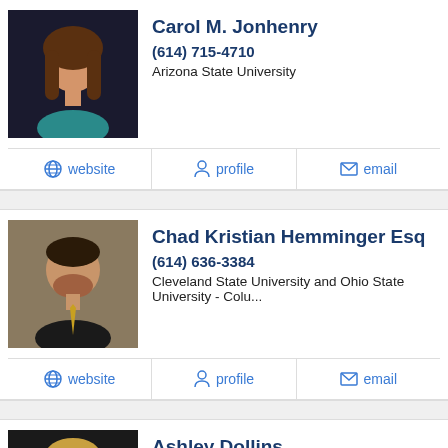[Figure (photo): Profile photo of Carol M. Jonhenry, woman with long brown hair wearing teal top]
Carol M. Jonhenry
(614) 715-4710
Arizona State University
website | profile | email
[Figure (photo): Profile photo of Chad Kristian Hemminger Esq, man in dark suit with yellow tie]
Chad Kristian Hemminger Esq
(614) 636-3384
Cleveland State University and Ohio State University - Colu...
website | profile | email
[Figure (photo): Profile photo of Ashley Dollins, woman with blonde hair]
Ashley Dollins
(614) 444-1900